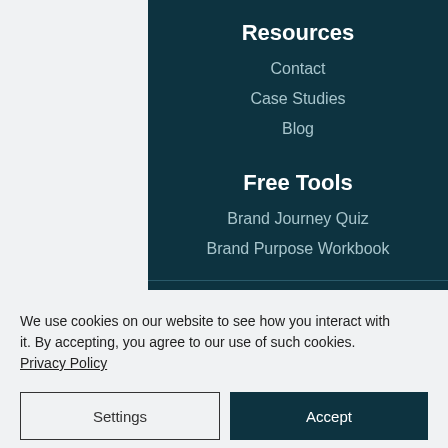Resources
Contact
Case Studies
Blog
Free Tools
Brand Journey Quiz
Brand Purpose Workbook
We use cookies on our website to see how you interact with it. By accepting, you agree to our use of such cookies. Privacy Policy
Settings
Accept